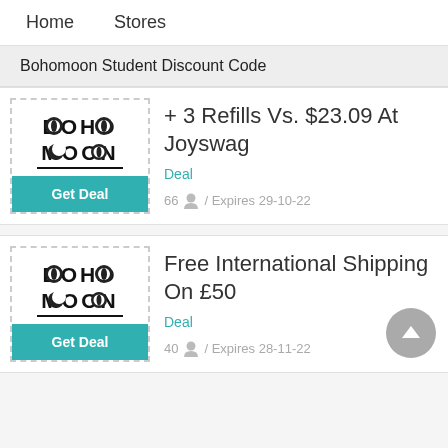Home   Stores
Bohomoon Student Discount Code
[Figure (logo): Bohomoon logo with stylized BOHO MOON text]
Get Deal
+ 3 Refills Vs. $23.09 At Joyswag
Deal
66  /  Expires 29-10-22
[Figure (logo): Bohomoon logo with stylized BOHO MOON text]
Get Deal
Free International Shipping On £50
Deal
40  /  Expires 28-11-22